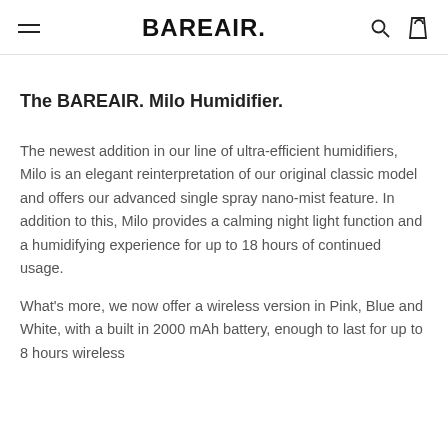BAREAIR.
The BAREAIR. Milo Humidifier.
The newest addition in our line of ultra-efficient humidifiers, Milo is an elegant reinterpretation of our original classic model and offers our advanced single spray nano-mist feature. In addition to this, Milo provides a calming night light function and a humidifying experience for up to 18 hours of continued usage.
What's more, we now offer a wireless version in Pink, Blue and White, with a built in 2000 mAh battery, enough to last for up to 8 hours wireless use. Stay tuned for more the next product drop.